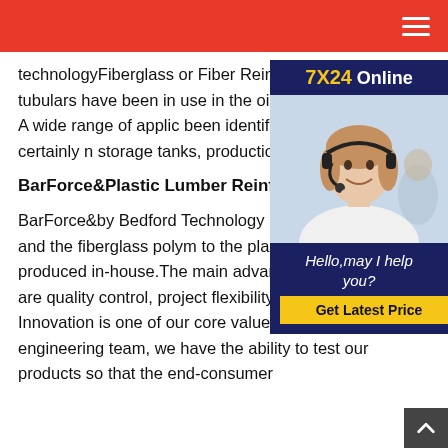technologyFiberglass or Fiber Reinforced Plastic (FRP) tubulars have been in use in the oil and since the 1980s. A wide range of applic been identified including, but certainly n storage tanks, production risers, flowline
[Figure (photo): Customer support agent with headset, with '7X24 Online' banner and 'Hello, may I help you?' and 'Get Latest Price' button in a dark blue sidebar widget]
BarForce&Plastic Lumber Reinforced
BarForce&by Bedford Technology is ma United States, and the fiberglass polym to the plastic lumber is produced in-house.The main advantages to this process are quality control, project flexibility and adaptation. Innovation is one of our core values.With an in-house engineering team, we have the ability to test our products so that the end-consumer